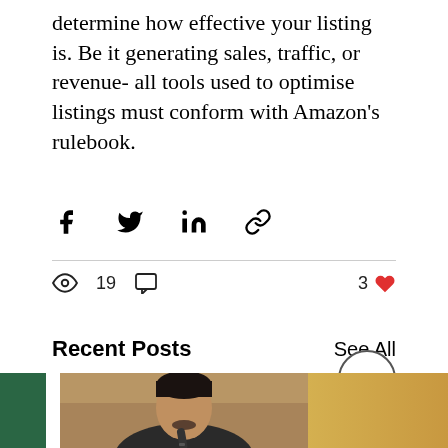determine how effective your listing is. Be it generating sales, traffic, or revenue- all tools used to optimise listings must conform with Amazon's rulebook.
[Figure (infographic): Social share icons: Facebook, Twitter, LinkedIn, Link]
[Figure (infographic): Stats row: eye icon with 19 views, comment icon, 3 likes with heart icon]
Recent Posts
See All
[Figure (photo): Thumbnail images row: green panel on left, center photo of a young man in suit holding a microphone, partial image on right with yellow/orange tones]